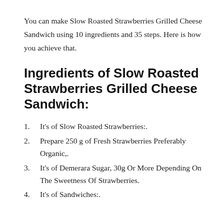You can make Slow Roasted Strawberries Grilled Cheese Sandwich using 10 ingredients and 35 steps. Here is how you achieve that.
Ingredients of Slow Roasted Strawberries Grilled Cheese Sandwich:
It’s of Slow Roasted Strawberries:.
Prepare 250 g of Fresh Strawberries Preferably Organic,.
It’s of Demerara Sugar, 30g Or More Depending On The Sweetness Of Strawberries.
It’s of Sandwiches:.